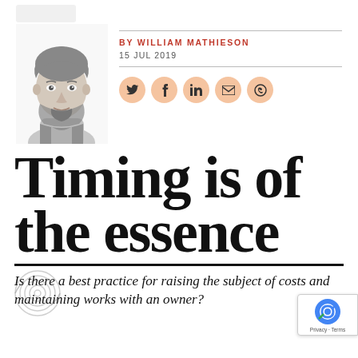[Figure (photo): Black and white author headshot photo of William Mathieson, a young man with a beard]
BY WILLIAM MATHIESON
15 JUL 2019
[Figure (infographic): Row of five circular peach-colored social media share icons: Twitter, Facebook, LinkedIn, Email, WhatsApp]
Timing is of the essence
Is there a best practice for raising the subject of costs and maintaining works with an owner?